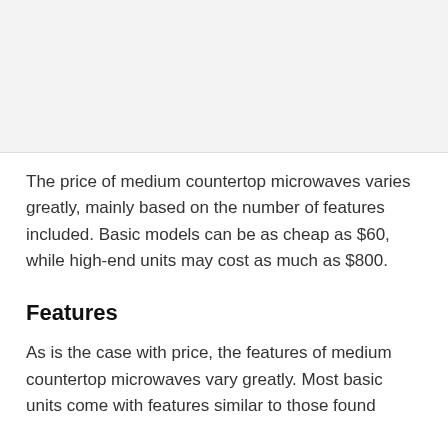[Figure (other): Top image area (partial image, cropped from above)]
The price of medium countertop microwaves varies greatly, mainly based on the number of features included. Basic models can be as cheap as $60, while high-end units may cost as much as $800.
Features
As is the case with price, the features of medium countertop microwaves vary greatly. Most basic units come with features similar to those found